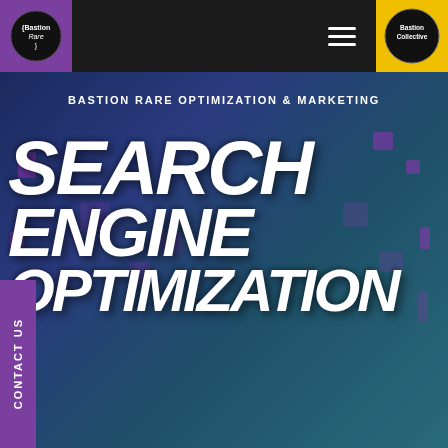[Figure (logo): Bastion Rare logo - circular black logo with curly brace text on purple background in nav bar left]
[Figure (logo): Bastion Collective logo - circular logo on yellow background in nav bar right]
[Figure (screenshot): Full webpage screenshot showing Bastion Rare Optimization & Marketing hero section with large brush-style text reading SEARCH ENGINE OPTIMIZATION on dark blue-teal gradient background with purple decorative squares]
BASTION RARE OPTIMIZATION & MARKETING
SEARCH ENGINE OPTIMIZATION
CONTACT US